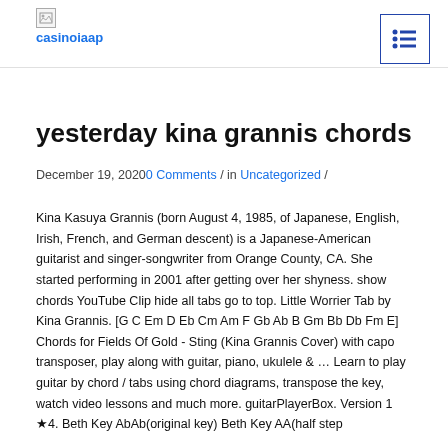casinoiaap
yesterday kina grannis chords
December 19, 20200 Comments / in Uncategorized /
Kina Kasuya Grannis (born August 4, 1985, of Japanese, English, Irish, French, and German descent) is a Japanese-American guitarist and singer-songwriter from Orange County, CA. She started performing in 2001 after getting over her shyness. show chords YouTube Clip hide all tabs go to top. Little Worrier Tab by Kina Grannis. [G C Em D Eb Cm Am F Gb Ab B Gm Bb Db Fm E] Chords for Fields Of Gold - Sting (Kina Grannis Cover) with capo transposer, play along with guitar, piano, ukulele & … Learn to play guitar by chord / tabs using chord diagrams, transpose the key, watch video lessons and much more. guitarPlayerBox. Version 1 ★4. Beth Key AbAb(original key) Beth Key AA(half step